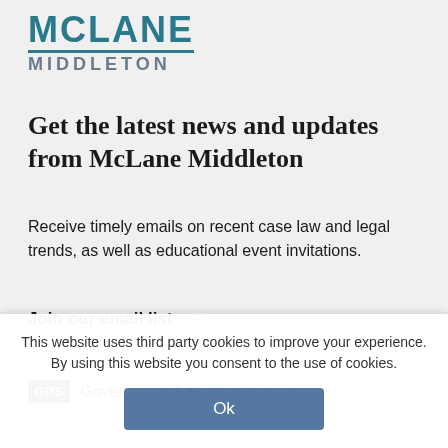[Figure (logo): McLane Middleton law firm logo with teal/blue text and underline]
Get the latest news and updates from McLane Middleton
Receive timely emails on recent case law and legal trends, as well as educational event invitations.
Join our email list →
GPS  Government & Public Strategies
This website uses third party cookies to improve your experience. By using this website you consent to the use of cookies.
Ok